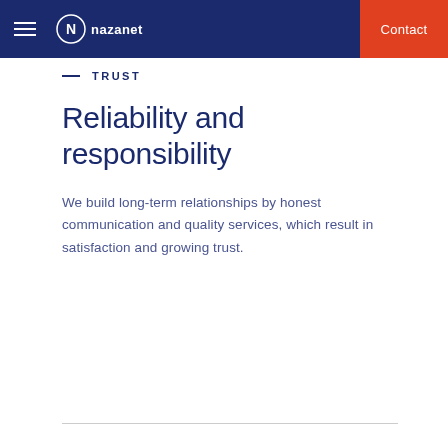nazanet | Contact
TRUST
Reliability and responsibility
We build long-term relationships by honest communication and quality services, which result in satisfaction and growing trust.